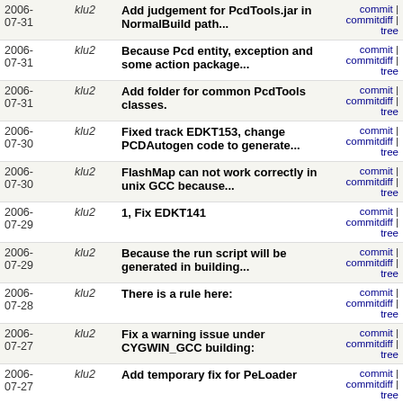| Date | Author | Message | Links |
| --- | --- | --- | --- |
| 2006-07-31 | klu2 | Add judgement for PcdTools.jar in NormalBuild path... | commit | commitdiff | tree |
| 2006-07-31 | klu2 | Because Pcd entity, exception and some action package... | commit | commitdiff | tree |
| 2006-07-31 | klu2 | Add folder for common PcdTools classes. | commit | commitdiff | tree |
| 2006-07-30 | klu2 | Fixed track EDKT153, change PCDAutogen code to generate... | commit | commitdiff | tree |
| 2006-07-30 | klu2 | FlashMap can not work correctly in unix GCC because... | commit | commitdiff | tree |
| 2006-07-29 | klu2 | 1, Fix EDKT141 | commit | commitdiff | tree |
| 2006-07-29 | klu2 | Because the run script will be generated in building... | commit | commitdiff | tree |
| 2006-07-28 | klu2 | There is a rule here: | commit | commitdiff | tree |
| 2006-07-27 | klu2 | Fix a warning issue under CYGWIN_GCC building: | commit | commitdiff | tree |
| 2006-07-27 | klu2 | Add temporary fix for PeLoader | commit | commitdiff | tree |
| 2006-07-23 | klu2 | Fix track EDKT97: Use {0} as NULL value for VOID* type... | commit | commitdiff | tree |
| 2006-07-19 | klu2 | Add specific flag definition according to ACPI specification. | commit | commitdiff | tree |
| 2006-07-17 | klu2 | Fix track EDKT104: If a module use PCD, MSA of this... | commit | commitdiff | tree |
| 2006-... | klu2 | Remove MdePhgls PCD declaration from... | commit |